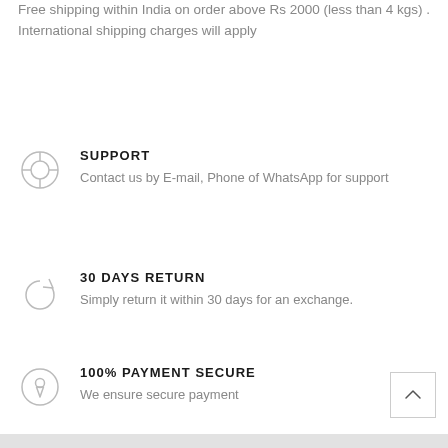Free shipping within India on order above Rs 2000 (less than 4 kgs) . International shipping charges will apply
SUPPORT
Contact us by E-mail, Phone of WhatsApp for support
30 DAYS RETURN
Simply return it within 30 days for an exchange.
100% PAYMENT SECURE
We ensure secure payment